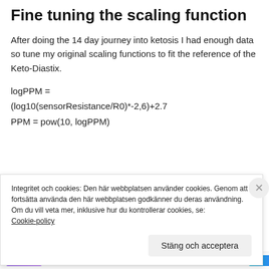Fine tuning the scaling function
After doing the 14 day journey into ketosis I had enough data so tune my original scaling functions to fit the reference of the Keto-Diastix.
Integritet och cookies: Den här webbplatsen använder cookies. Genom att fortsätta använda den här webbplatsen godkänner du deras användning.
Om du vill veta mer, inklusive hur du kontrollerar cookies, se: Cookie-policy